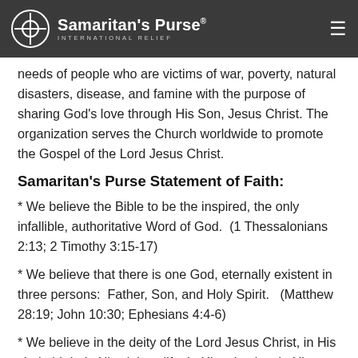Samaritan's Purse International Relief
needs of people who are victims of war, poverty, natural disasters, disease, and famine with the purpose of sharing God's love through His Son, Jesus Christ. The organization serves the Church worldwide to promote the Gospel of the Lord Jesus Christ.
Samaritan's Purse Statement of Faith:
* We believe the Bible to be the inspired, the only infallible, authoritative Word of God.  (1 Thessalonians 2:13; 2 Timothy 3:15-17)
* We believe that there is one God, eternally existent in three persons:  Father, Son, and Holy Spirit.   (Matthew 28:19; John 10:30; Ephesians 4:4-6)
* We believe in the deity of the Lord Jesus Christ, in His virgin birth, in His sinless life, in His miracles, in His vicarious and atoning death through His shed blood on the cross, in His bodily